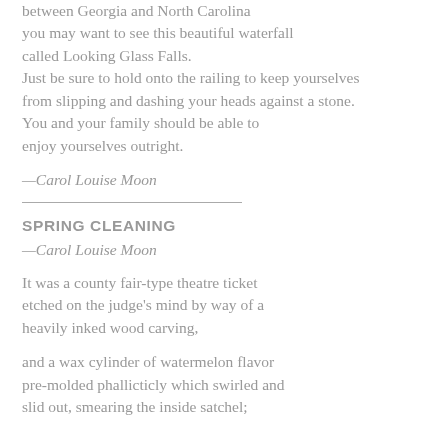between Georgia and North Carolina you may want to see this beautiful waterfall called Looking Glass Falls. Just be sure to hold onto the railing to keep yourselves from slipping and dashing your heads against a stone. You and your family should be able to enjoy yourselves outright.
—Carol Louise Moon
SPRING CLEANING
—Carol Louise Moon
It was a county fair-type theatre ticket etched on the judge's mind by way of a heavily inked wood carving,
and a wax cylinder of watermelon flavor pre-molded phallicticly which swirled and slid out, smearing the inside satchel;